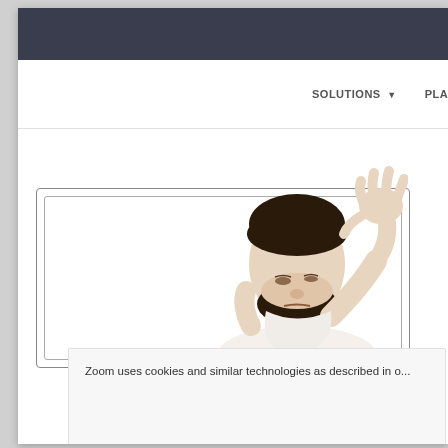[Figure (screenshot): Zoom website screenshot showing the Zoom logo in blue, navigation bar with SOLUTIONS, PLANS & PRICING, CONTACT S... links, a hero section with a man cupping his hand to his ear, laptop frame outlines, and a cookie consent banner at the bottom reading 'Zoom uses cookies and similar technologies as described in o...']